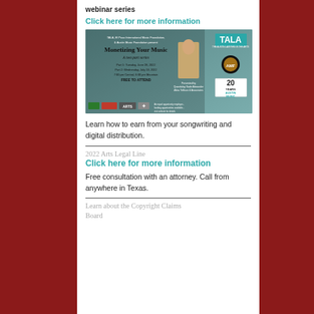webinar series
Click here for more information
[Figure (illustration): Event flyer for 'Monetizing Your Music - A two part series' presented by TALA, El Paso International Music Foundation, & Austin Music Foundation. Part 1: Tuesday, June 28, 2022. Part 2: Wednesday, July 13, 2022. 7:00 pm Central, 6:00 pm Mountain. FREE TO ATTEND. Features TALA logo, Austin Music Foundation 20 Years logo, and sponsor logos.]
Learn how to earn from your songwriting and digital distribution.
2022 Arts Legal Line
Click here for more information
Free consultation with an attorney. Call from anywhere in Texas.
Learn about the Copyright Claims Board